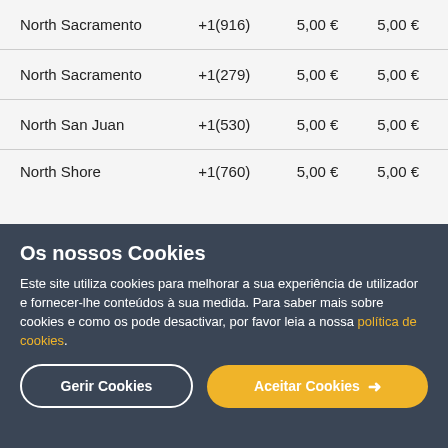| North Sacramento | +1(916) | 5,00 € | 5,00 € |
| North Sacramento | +1(279) | 5,00 € | 5,00 € |
| North San Juan | +1(530) | 5,00 € | 5,00 € |
| North Shore | +1(760) | 5,00 € | 5,00 € |
Os nossos Cookies
Este site utiliza cookies para melhorar a sua experiência de utilizador e fornecer-lhe conteúdos à sua medida. Para saber mais sobre cookies e como os pode desactivar, por favor leia a nossa política de cookies.
Gerir Cookies | Aceitar Cookies →